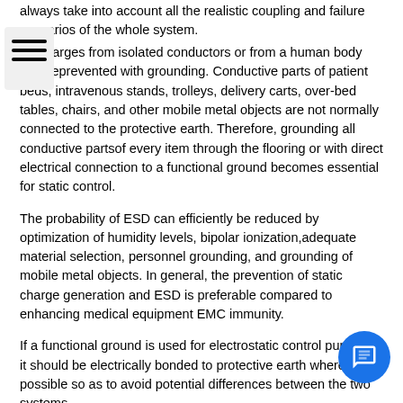always take into account all the realistic coupling and failure scenarios of the whole system.
Discharges from isolated conductors or from a human body can beprevented with grounding. Conductive parts of patient beds, intravenous stands, trolleys, delivery carts, over-bed tables, chairs, and other mobile metal objects are not normally connected to the protective earth. Therefore, grounding all conductive partsof every item through the flooring or with direct electrical connection to a functional ground becomes essential for static control.
The probability of ESD can efficiently be reduced by optimization of humidity levels, bipolar ionization,adequate material selection, personnel grounding, and grounding of mobile metal objects. In general, the prevention of static charge generation and ESD is preferable compared to enhancing medical equipment EMC immunity.
If a functional ground is used for electrostatic control purposes, it should be electrically bonded to protective earth where possible so as to avoid potential differences between the two systems.
4.3 Contamination caused by ESA